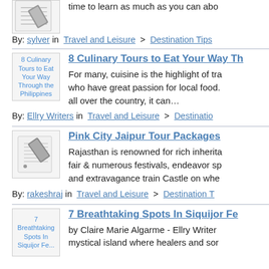time to learn as much as you can abo...
By: sylver in Travel and Leisure > Destination Tips
8 Culinary Tours to Eat Your Way Th...
For many, cuisine is the highlight of tra... who have great passion for local food. all over the country, it can…
By: Ellry Writers in Travel and Leisure > Destinatio...
Pink City Jaipur Tour Packages
Rajasthan is renowned for rich inherita... fair & numerous festivals, endeavor sp... and extravagance train Castle on whe...
By: rakeshraj in Travel and Leisure > Destination T...
7 Breathtaking Spots In Siquijor Fe...
by Claire Marie Algarme - Ellry Writer... mystical island where healers and sor...